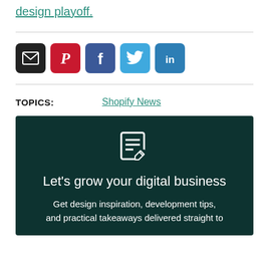design playoff.
[Figure (infographic): Social share icons: email (dark), Pinterest (red), Facebook (blue), Twitter (light blue), LinkedIn (blue)]
TOPICS: Shopify News
[Figure (infographic): Dark green promotional box with edit/notepad icon, heading 'Let’s grow your digital business', and body text 'Get design inspiration, development tips, and practical takeaways delivered straight to...']